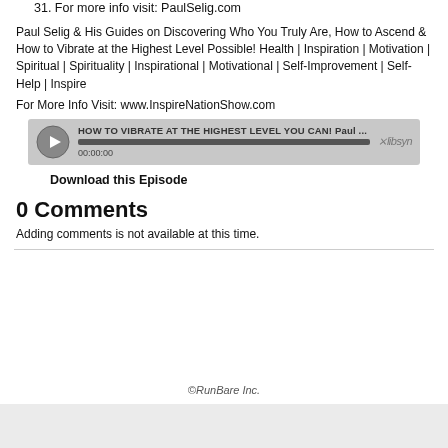31. For more info visit: PaulSelig.com
Paul Selig & His Guides on Discovering Who You Truly Are, How to Ascend & How to Vibrate at the Highest Level Possible! Health | Inspiration | Motivation | Spiritual | Spirituality | Inspirational | Motivational | Self-Improvement | Self-Help | Inspire
For More Info Visit: www.InspireNationShow.com
[Figure (screenshot): Libsyn audio player showing episode titled 'HOW TO VIBRATE AT THE HIGHEST LEVEL YOU CAN! Paul ...' with play button, progress bar, time 00:00:00, and Libsyn logo]
Download this Episode
0 Comments
Adding comments is not available at this time.
©RunBare Inc.